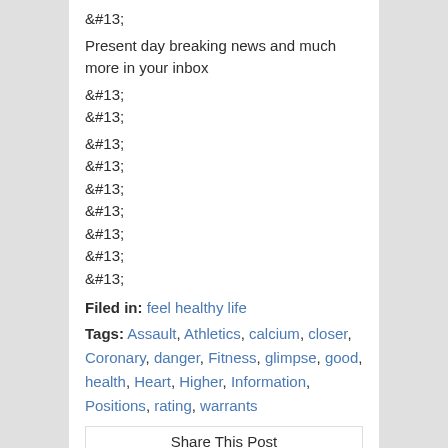&#13;
Present day breaking news and much more in your inbox
&#13;
&#13;
&#13;
&#13;
&#13;
&#13;
&#13;
&#13;
&#13;
Filed in: feel healthy life
Tags: Assault, Athletics, calcium, closer, Coronary, danger, Fitness, glimpse, good, health, Heart, Higher, Information, Positions, rating, warrants
Share This Post